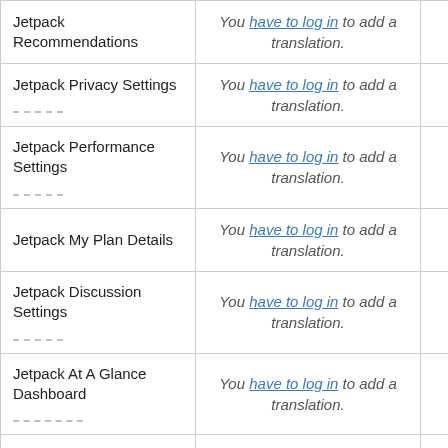| Plugin Name | Translation Status | Action |
| --- | --- | --- |
| Jetpack Recommendations | You have to log in to add a translation. | Details |
| Jetpack Privacy Settings | You have to log in to add a translation. | Details |
| Jetpack Performance Settings | You have to log in to add a translation. | Details |
| Jetpack My Plan Details | You have to log in to add a translation. | Details |
| Jetpack Discussion Settings | You have to log in to add a translation. | Details |
| Jetpack At A Glance Dashboard | You have to log in to add a translation. | Details |
| View your most … | You have to log in to … | Details |